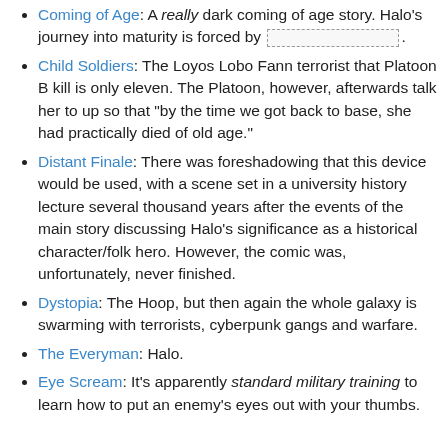Coming of Age: A really dark coming of age story. Halo's journey into maturity is forced by [redacted].
Child Soldiers: The Loyos Lobo Fann terrorist that Platoon B kill is only eleven. The Platoon, however, afterwards talk her to up so that "by the time we got back to base, she had practically died of old age."
Distant Finale: There was foreshadowing that this device would be used, with a scene set in a university history lecture several thousand years after the events of the main story discussing Halo's significance as a historical character/folk hero. However, the comic was, unfortunately, never finished.
Dystopia: The Hoop, but then again the whole galaxy is swarming with terrorists, cyberpunk gangs and warfare.
The Everyman: Halo.
Eye Scream: It's apparently standard military training to learn how to put an enemy's eyes out with your thumbs.